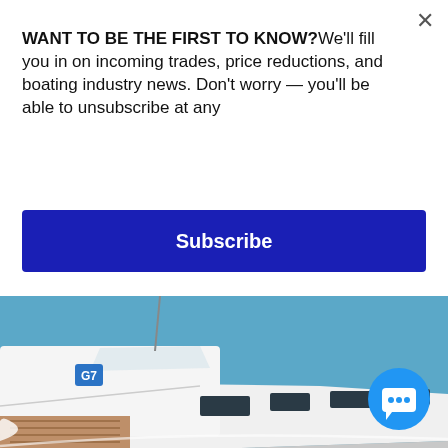WANT TO BE THE FIRST TO KNOW?We'll fill you in on incoming trades, price reductions, and boating industry news. Don't worry — you'll be able to unsubscribe at any
[Figure (other): Blue Subscribe button]
[Figure (photo): A white luxury motor yacht speeding through the water creating a large wake, photographed from the side showing the bow and port side]
[Figure (other): Blue circular chat/messaging button with speech bubble icon in bottom right corner]